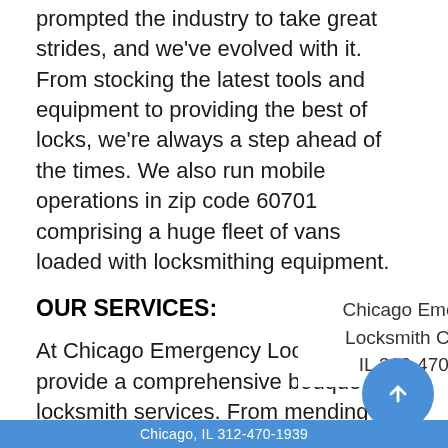prompted the industry to take great strides, and we've evolved with it. From stocking the latest tools and equipment to providing the best of locks, we're always a step ahead of the times. We also run mobile operations in zip code 60701 comprising a huge fleet of vans loaded with locksmithing equipment.
OUR SERVICES:
At Chicago Emergency Locksmith, we provide a comprehensive bouquet of locksmith services. From mending locks to there's nothing w scores of clients residential sector on time and at re
Chicago Emergency Locksmith Chicago, IL 312-470-1939
Here's an ove
All types of keys
Chicago, IL 312-470-1939